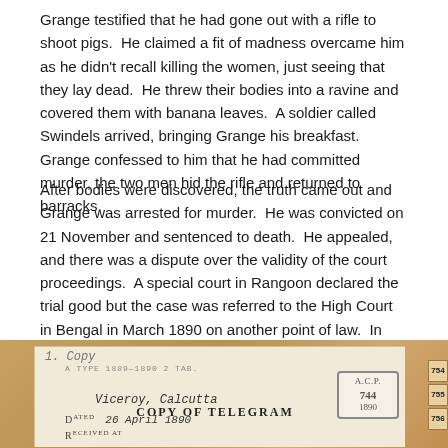Grange testified that he had gone out with a rifle to shoot pigs. He claimed a fit of madness overcame him as he didn't recall killing the women, just seeing that they lay dead. He threw their bodies into a ravine and covered them with banana leaves. A soldier called Swindels arrived, bringing Grange his breakfast. Grange confessed to him that he had committed murder, the two men hid the rifle and returned to barracks.
After bodies were discovered, the truth came out and Grange was arrested for murder. He was convicted on 21 November and sentenced to death. He appealed, and there was a dispute over the validity of the court proceedings. A special court in Rangoon declared the trial good but the case was referred to the High Court in Bengal in March 1890 on another point of law. In April 1890 it was decided to commute Grange's sentence to penal servitude for life.
[Figure (photo): Photograph of an open book/document showing a 'Copy of Telegram' page. The document has handwritten text at the top reading '1. Copy', a printed heading 'COPY OF TELEGRAM', a stamp box with 'A.C.P. 744 1890', handwritten 'Viceroy, Calcutta', field label 'Dated' with handwritten '26 April 1890', and field label 'Received at' partially visible. The document rests on a wooden surface and page tabs numbered 754, 755, 756 are visible on the right edge.]